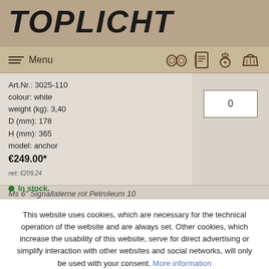TOPLICHT
Menu [navigation icons: binoculars, notebook, captain, basket]
Art.Nr.: 3025-110
colour: white
weight (kg): 3,40
D (mm): 178
H (mm): 365
model: anchor
€249.00*
net: €209.24
In stock.
Ms 6" Signallaterne rot Petroleum 10
This website uses cookies, which are necessary for the technical operation of the website and are always set. Other cookies, which increase the usability of this website, serve for direct advertising or simplify interaction with other websites and social networks, will only be used with your consent. More information
Decline
Accept all
Configure